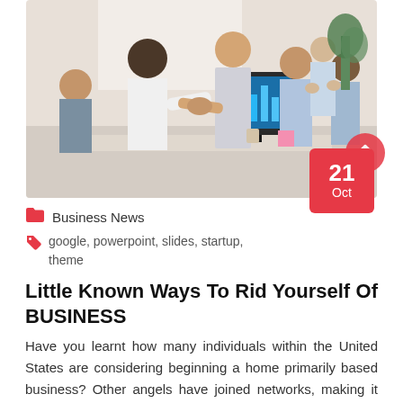[Figure (photo): Group of business people in an office, two people shaking hands in the foreground while others applaud in the background. A monitor showing charts is visible.]
21 Oct
Business News
google, powerpoint, slides, startup, theme
Little Known Ways To Rid Yourself Of BUSINESS
Have you learnt how many individuals within the United States are considering beginning a home primarily based business? Other angels have joined networks, making it easier for potential